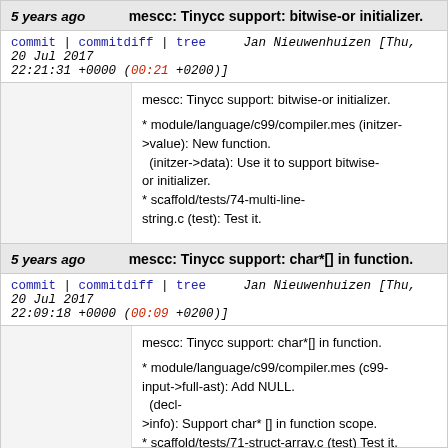5 years ago   mescc: Tinycc support: bitwise-or initializer.
commit | commitdiff | tree   Jan Nieuwenhuizen [Thu, 20 Jul 2017 22:21:31 +0000 (00:21 +0200)]
mescc: Tinycc support: bitwise-or initializer.

* module/language/c99/compiler.mes (initzer->value): New function.
  (initzer->data): Use it to support bitwise-or initializer.
* scaffold/tests/74-multi-line-string.c (test): Test it.
5 years ago   mescc: Tinycc support: char*[] in function.
commit | commitdiff | tree   Jan Nieuwenhuizen [Thu, 20 Jul 2017 22:09:18 +0000 (00:09 +0200)]
mescc: Tinycc support: char*[] in function.

* module/language/c99/compiler.mes (c99-input->full-ast): Add NULL.
  (decl->info): Support char* [] in function scope.
* scaffold/tests/71-struct-array.c (test) Test it.